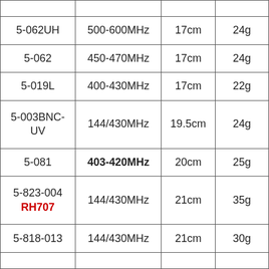|  |  |  |  |
| 5-062UH | 500-600MHz | 17cm | 24g |
| 5-062 | 450-470MHz | 17cm | 24g |
| 5-019L | 400-430MHz | 17cm | 22g |
| 5-003BNC-UV | 144/430MHz | 19.5cm | 24g |
| 5-081 | 403-420MHz | 20cm | 25g |
| 5-823-004
RH707 | 144/430MHz | 21cm | 35g |
| 5-818-013 | 144/430MHz | 21cm | 30g |
|  |  |  |  |